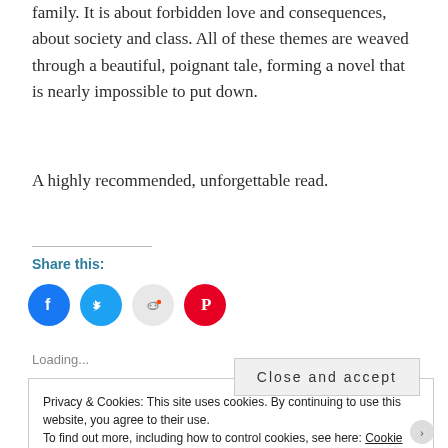family. It is about forbidden love and consequences, about society and class. All of these themes are weaved through a beautiful, poignant tale, forming a novel that is nearly impossible to put down.
A highly recommended, unforgettable read.
Share this:
[Figure (infographic): Four social media share buttons as colored circles: Facebook (blue), Twitter (blue), Reddit (light gray), Pinterest (red)]
Loading...
Privacy & Cookies: This site uses cookies. By continuing to use this website, you agree to their use. To find out more, including how to control cookies, see here: Cookie Policy
Close and accept